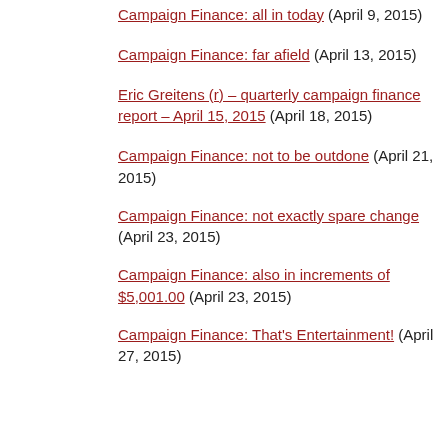Campaign Finance: all in today (April 9, 2015)
Campaign Finance: far afield (April 13, 2015)
Eric Greitens (r) – quarterly campaign finance report – April 15, 2015 (April 18, 2015)
Campaign Finance: not to be outdone (April 21, 2015)
Campaign Finance: not exactly spare change (April 23, 2015)
Campaign Finance: also in increments of $5,001.00 (April 23, 2015)
Campaign Finance: That's Entertainment! (April 27, 2015)